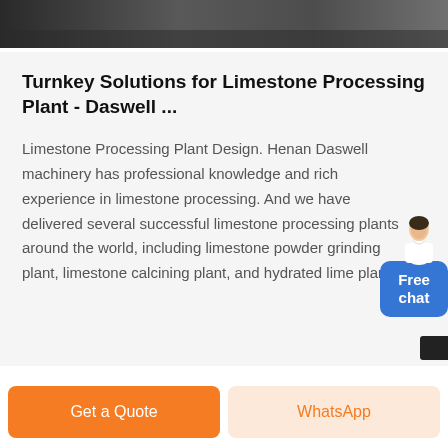[Figure (photo): Dark/grey stone or machinery background image at the top of the page]
Turnkey Solutions for Limestone Processing Plant - Daswell ...
Limestone Processing Plant Design. Henan Daswell machinery has professional knowledge and rich experience in limestone processing. And we have delivered several successful limestone processing plants around the world, including limestone powder grinding plant, limestone calcining plant, and hydrated lime plant.
[Figure (illustration): Chat widget with customer service avatar and blue Free chat button]
Get a Quote
WhatsApp